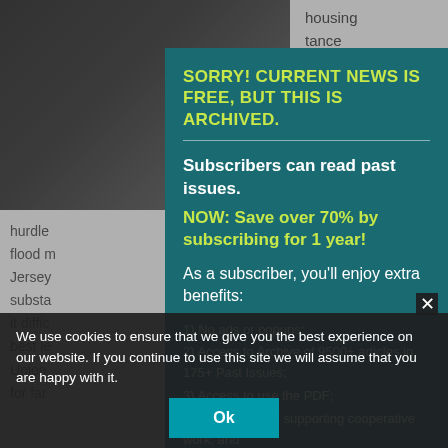[Figure (screenshot): Background newspaper article page partially visible behind modal overlay, with dark photo top-left and article text partially visible]
SORRY! CURRENT NEWS IS FREE, BUT THIS IS ARCHIVED.
Subscribers can read past issues.
NOW: Save over 70% by subscribing for 1 year!
As a subscriber, you'll enjoy extra benefits:
1) No ads or popups;
2) Access to Archive of 9500+ articles in 175+ Past Issues;
3) Access to use the PDF;
4) Satisfaction of supporting cooperative work; and
5) Email notification of new issues (2X/month). And More!
We use cookies to ensure that we give you the best experience on our website. If you continue to use this site we will assume that you are happy with it.